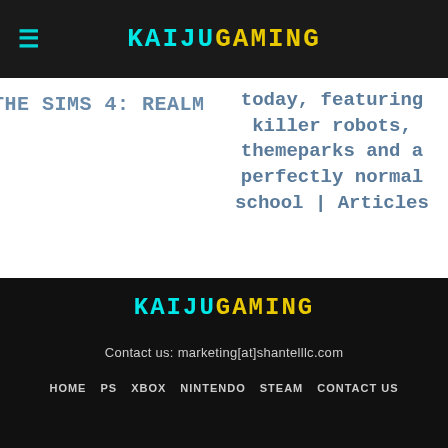KAIJUGAMING
today, featuring killer robots, themeparks and a perfectly normal school | Articles
KAIJUGAMING
Contact us: marketing[at]shantelllc.com
HOME  PS  XBOX  NINTENDO  STEAM  CONTACT US